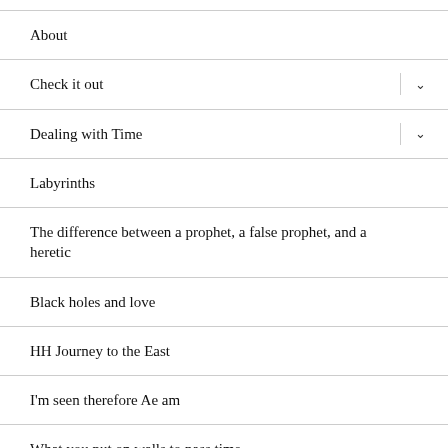About
Check it out
Dealing with Time
Labyrinths
The difference between a prophet, a false prophet, and a heretic
Black holes and love
HH Journey to the East
I'm seen therefore Ae am
What you put on walls to pass time